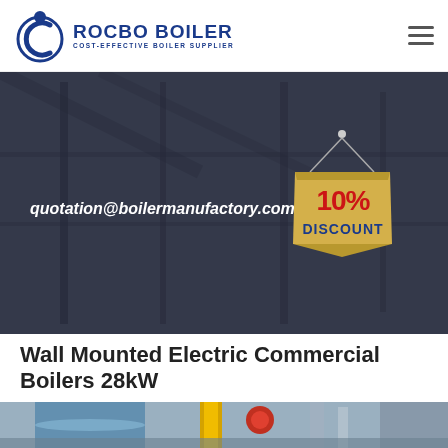[Figure (logo): Rocbo Boiler logo with circular blue C graphic and text 'ROCBO BOILER / COST-EFFECTIVE BOILER SUPPLIER']
[Figure (infographic): Dark grey industrial boiler factory background with white bold italic email text 'quotation@boilermanufactory.com' and a hanging 10% DISCOUNT sign badge on the right]
Wall Mounted Electric Commercial Boilers 28kW
[Figure (photo): Partial view of industrial boiler equipment, showing blue and yellow cylindrical components]